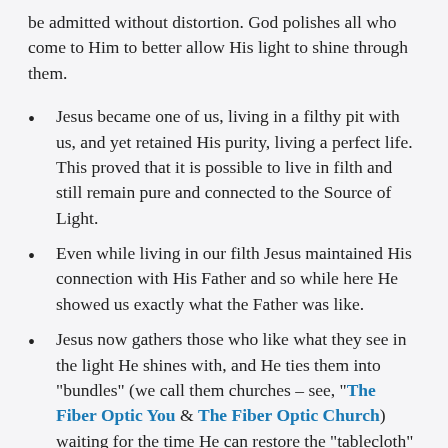be admitted without distortion. God polishes all who come to Him to better allow His light to shine through them.
Jesus became one of us, living in a filthy pit with us, and yet retained His purity, living a perfect life. This proved that it is possible to live in filth and still remain pure and connected to the Source of Light.
Even while living in our filth Jesus maintained His connection with His Father and so while here He showed us exactly what the Father was like.
Jesus now gathers those who like what they see in the light He shines with, and He ties them into "bundles" (we call them churches – see, "The Fiber Optic You" & The Fiber Optic Church) waiting for the time He can restore the "tablecloth" (His Father's kingdom) to everything it ever was. But this "tablecloth " will eventually be even better than it was because of the dings and scrapes (from the pain